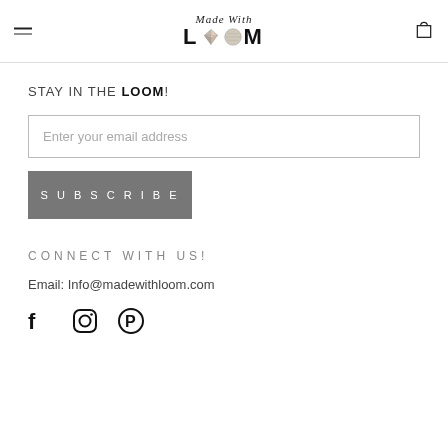Made with LOOM
STAY IN THE LOOM!
Enter your email address
SUBSCRIBE
CONNECT WITH US!
Email: Info@madewithloom.com
[Figure (illustration): Social media icons: Facebook, Instagram, Pinterest]